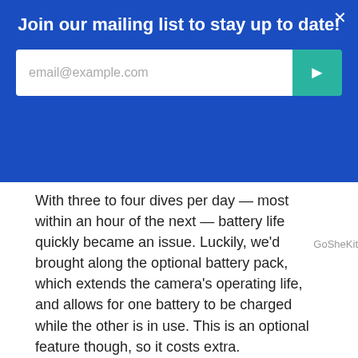Join our mailing list to stay up to date!
email@example.com
With three to four dives per day — most within an hour of the next — battery life quickly became an issue. Luckily, we'd brought along the optional battery pack, which extends the camera's operating life, and allows for one battery to be charged while the other is in use. This is an optional feature though, so it costs extra.
STEADY, STEADY
Being a human tripod takes some getting used to. The first couple of dives' material suffered from a good deal of shaking and swerving while our photographer was getting used to having a camera mounted on his